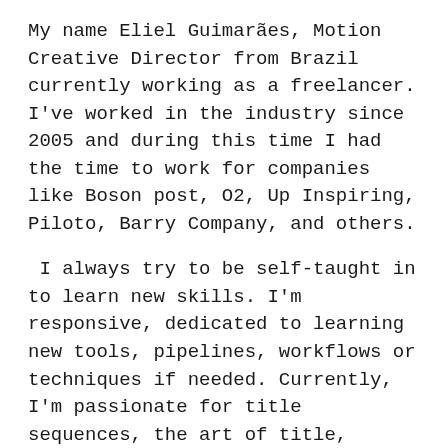My name Eliel Guimarães, Motion Creative Director from Brazil currently working as a freelancer. I've worked in the industry since 2005 and during this time I had the time to work for companies like Boson post, O2, Up Inspiring, Piloto, Barry Company, and others.
I always try to be self-taught in to learn new skills. I'm responsive, dedicated to learning new tools, pipelines, workflows or techniques if needed. Currently, I'm passionate for title sequences, the art of title, whatever you call it! I'm just loving to create styleframes and lighting that has a unique story into it.